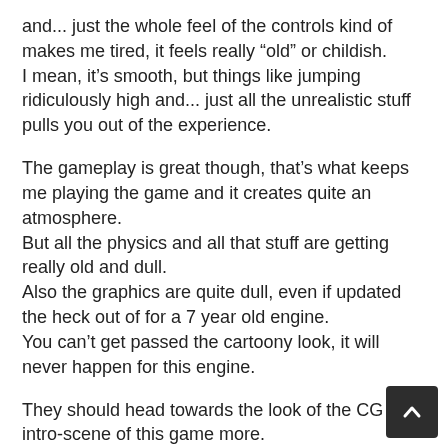and... just the whole feel of the controls kind of makes me tired, it feels really “old” or childish.
I mean, it’s smooth, but things like jumping ridiculously high and... just all the unrealistic stuff pulls you out of the experience.
The gameplay is great though, that’s what keeps me playing the game and it creates quite an atmosphere.
But all the physics and all that stuff are getting really old and dull.
Also the graphics are quite dull, even if updated the heck out of for a 7 year old engine.
You can’t get passed the cartoony look, it will never happen for this engine.
They should head towards the look of the CG intro-scene of this game more.
If it would look like that, that would just be perfect for L4D3.
Yes, you will need a better computer, but even though I’m not a person who always has the best thing, I still